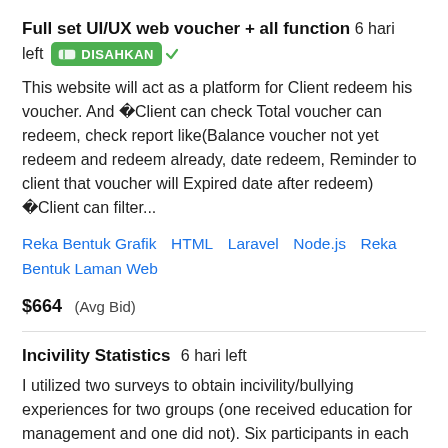Full set UI/UX web voucher + all function  6 hari left
DISAHKAN (badge)
This website will act as a platform for Client redeem his voucher. And �Client can check Total voucher can redeem, check report like(Balance voucher not yet redeem and redeem already, date redeem, Reminder to client that voucher will Expired date after redeem) �Client can filter...
Reka Bentuk Grafik   HTML   Laravel   Node.js   Reka Bentuk Laman Web
$664  (Avg Bid)
Incivility Statistics  6 hari left
I utilized two surveys to obtain incivility/bullying experiences for two groups (one received education for management and one did not). Six participants in each group. I need to compare the data utilizing IBM SPSS to determine if education was beneficial.